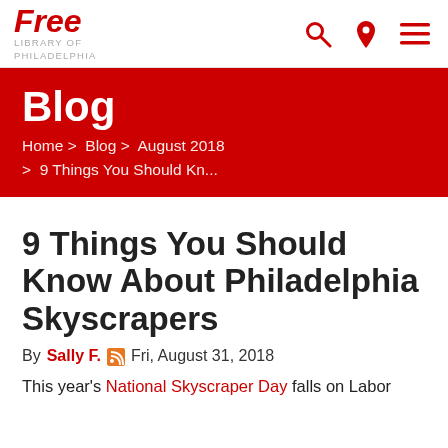[Figure (logo): Free Library of Philadelphia logo with red italic 'Free' text and gray 'Library of Philadelphia' subtitle, plus navigation icons (search, location, menu) in red on the right]
Blog
Home > Blog > August 2018 > 9 Things You Should Kn...
9 Things You Should Know About Philadelphia Skyscrapers
By Sally F. Fri, August 31, 2018
This year's National Skyscraper Day falls on Labor